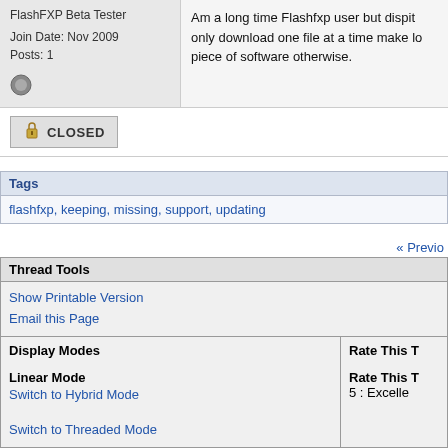FlashFXP Beta Tester
Join Date: Nov 2009
Posts: 1
Am a long time Flashfxp user but dispite only download one file at a time make lo piece of software otherwise.
CLOSED
Tags
flashfxp, keeping, missing, support, updating
« Previo
Thread Tools
Show Printable Version
Email this Page
Display Modes
Rate This T
Linear Mode
Switch to Hybrid Mode
Switch to Threaded Mode
Rate This T
5 : Excelle
Posting Rules
You may not post new threads
You may not post replies
You may not post attachments